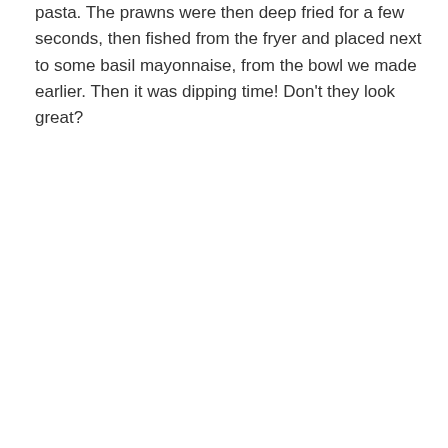pasta. The prawns were then deep fried for a few seconds, then fished from the fryer and placed next to some basil mayonnaise, from the bowl we made earlier. Then it was dipping time! Don't they look great?